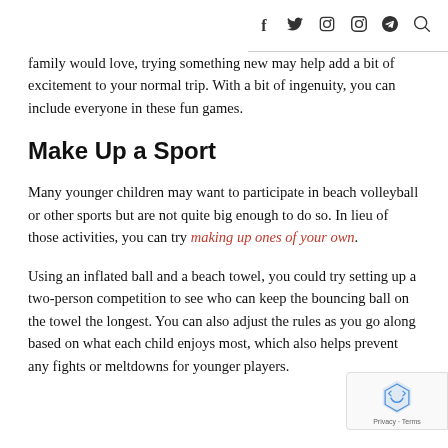f  y  [instagram]  [pinterest]  [search]
family would love, trying something new may help add a bit of excitement to your normal trip. With a bit of ingenuity, you can include everyone in these fun games.
Make Up a Sport
Many younger children may want to participate in beach volleyball or other sports but are not quite big enough to do so. In lieu of those activities, you can try making up ones of your own.
Using an inflated ball and a beach towel, you could try setting up a two-person competition to see who can keep the bouncing ball on the towel the longest. You can also adjust the rules as you go along based on what each child enjoys most, which also helps prevent any fights or meltdowns for younger players.